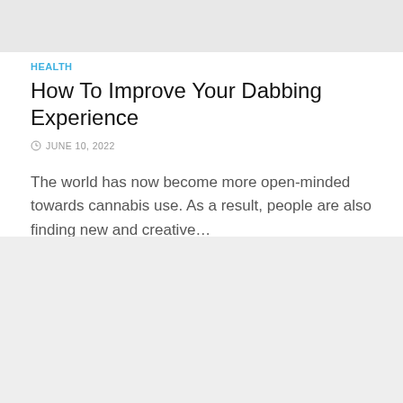[Figure (photo): Top image bar, light gray placeholder]
HEALTH
How To Improve Your Dabbing Experience
JUNE 10, 2022
The world has now become more open-minded towards cannabis use. As a result, people are also finding new and creative…
[Figure (photo): Bottom image placeholder, light gray]